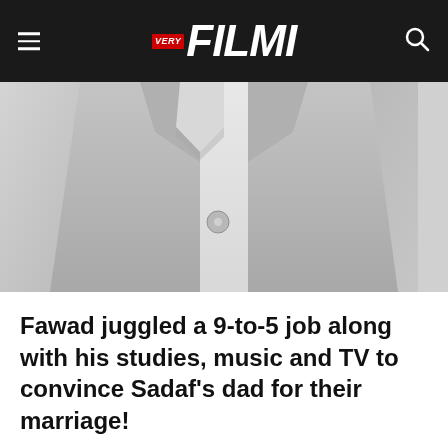VERY FILMI
[Figure (photo): Grayscale photo showing a person wearing a light grey suit jacket with a white shirt visible at the collar, cropped to show torso only]
Fawad juggled a 9-to-5 job along with his studies, music and TV to convince Sadaf’s dad for their marriage!